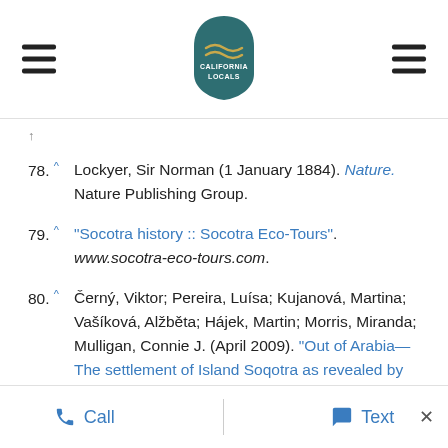California Locals logo header with navigation
78. ^ Lockyer, Sir Norman (1 January 1884). Nature. Nature Publishing Group.
79. ^ "Socotra history :: Socotra Eco-Tours". www.socotra-eco-tours.com.
80. ^ Černý, Viktor; Pereira, Luísa; Kujanová, Martina; Vašíková, Alžběta; Hájek, Martin; Morris, Miranda; Mulligan, Connie J. (April 2009). "Out of Arabia—The settlement of Island Soqotra as revealed by mitochondrial and Y chromosome genetic diversity". American Journal of Physical Anthropology. 138 (4): 439–47.
Call | Text